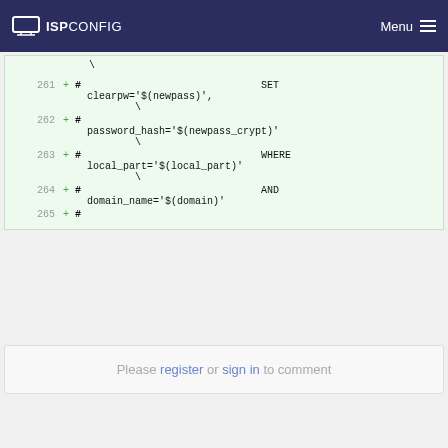ISPConfig  Menu
[Figure (screenshot): Code diff viewer showing lines 261-265 with added lines (+#) containing SQL SET, clearpw, password_hash, WHERE, local_part, AND, domain_name fields]
Please register or sign in to comment